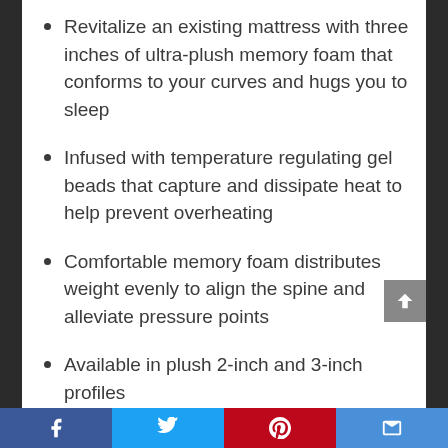Revitalize an existing mattress with three inches of ultra-plush memory foam that conforms to your curves and hugs you to sleep
Infused with temperature regulating gel beads that capture and dissipate heat to help prevent overheating
Comfortable memory foam distributes weight evenly to align the spine and alleviate pressure points
Available in plush 2-inch and 3-inch profiles